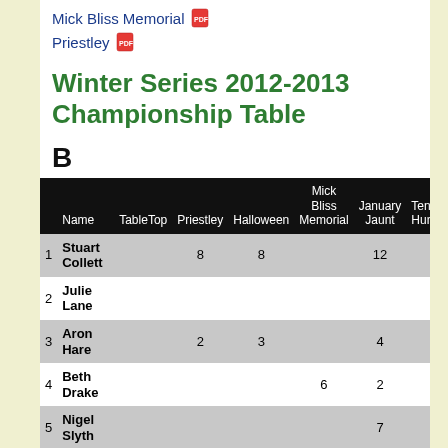Mick Bliss Memorial [PDF]
Priestley [PDF]
Winter Series 2012-2013 Championship Table
B
|  | Name | TableTop | Priestley | Halloween | Mick Bliss Memorial | January Jaunt | Tendring Hundred | ... |
| --- | --- | --- | --- | --- | --- | --- | --- | --- |
| 1 | Stuart Collett |  | 8 | 8 |  | 12 |  |
| 2 | Julie Lane |  |  |  |  |  |  |
| 3 | Aron Hare |  | 2 | 3 |  | 4 |  |
| 4 | Beth Drake |  |  |  | 6 | 2 |  |
| 5 | Nigel Slyth |  |  |  |  | 7 |  |
| 6 | Ellis Stokes |  |  |  |  |  | 6 |
| 7 | Simon Howlett |  |  |  |  |  |  |
| 8 | James ... |  |  |  | 4 |  |  |